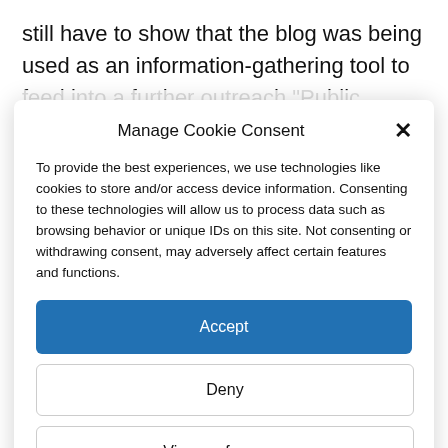still have to show that the blog was being used as an information-gathering tool to feed into a further outreach “Public Benefit” function – such as a booklet or
Manage Cookie Consent
To provide the best experiences, we use technologies like cookies to store and/or access device information. Consenting to these technologies will allow us to process data such as browsing behavior or unique IDs on this site. Not consenting or withdrawing consent, may adversely affect certain features and functions.
Accept
Deny
View preferences
Cookie Policy   Privacy Policy